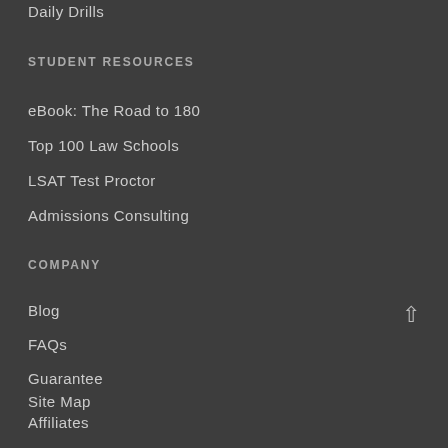Daily Drills
STUDENT RESOURCES
eBook: The Road to 180
Top 100 Law Schools
LSAT Test Proctor
Admissions Consulting
COMPANY
Blog
FAQs
Guarantee
Site Map
Affiliates
Careers
Contact